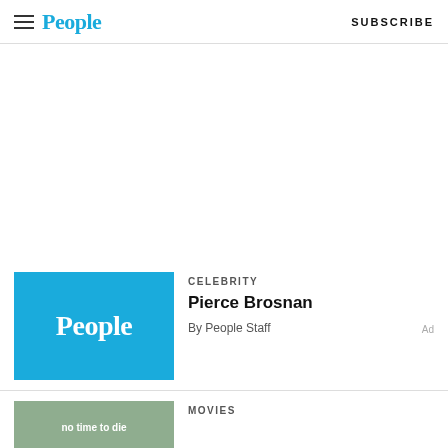People | SUBSCRIBE
[Figure (screenshot): Large white advertisement space below the header]
[Figure (logo): People magazine logo on blue background thumbnail image for article]
CELEBRITY
Pierce Brosnan
By People Staff
MOVIES